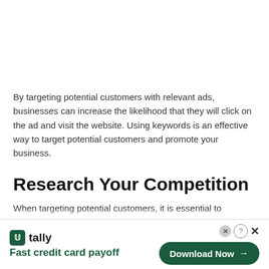By targeting potential customers with relevant ads, businesses can increase the likelihood that they will click on the ad and visit the website. Using keywords is an effective way to target potential customers and promote your business.
Research Your Competition
When targeting potential customers, it is essential to research your competition. By understanding what they are doing, you can adjust your strategies to be more effective. The first step is to identify you...
[Figure (other): Advertisement banner for Tally app — 'Fast credit card payoff' with a Download Now button]